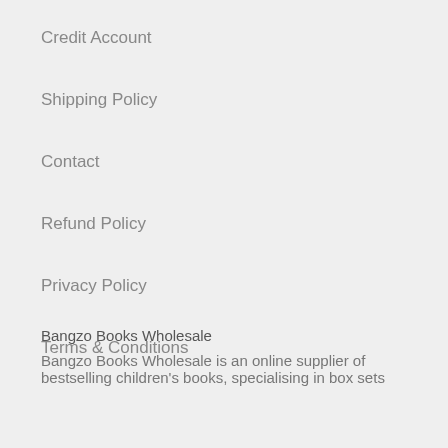Credit Account
Shipping Policy
Contact
Refund Policy
Privacy Policy
Terms & Conditions
Bangzo Books Wholesale
Bangzo Books Wholesale is an online supplier of bestselling children's books, specialising in box sets